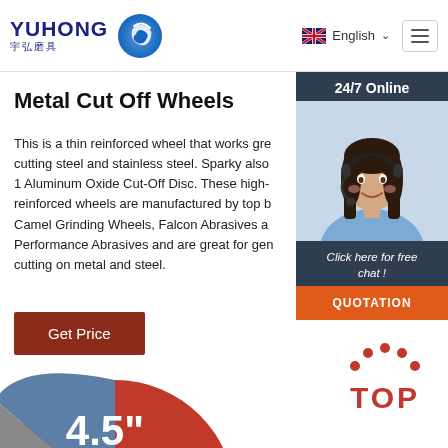YUHONG 宇弘磨具 | English
Metal Cut Off Wheels
This is a thin reinforced wheel that works gre cutting steel and stainless steel. Sparky also 1 Aluminum Oxide Cut-Off Disc. These high-reinforced wheels are manufactured by top b Camel Grinding Wheels, Falcon Abrasives a Performance Abrasives and are great for gen cutting on metal and steel.
[Figure (photo): Customer service representative woman with headset smiling, shown in a dark sidebar widget with '24/7 Online' header and 'Click here for free chat!' and 'QUOTATION' button]
Get Price
[Figure (photo): Metal cut off wheel disc showing 4.5 inch size marking in white text on red/blue disc, partially cropped at bottom of page]
[Figure (other): TOP button with red dots above forming an arch and bold red TOP text]